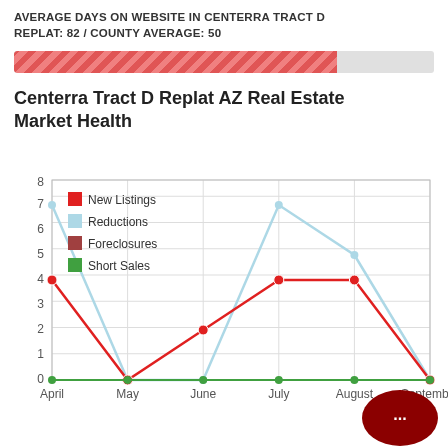AVERAGE DAYS ON WEBSITE IN CENTERRA TRACT D REPLAT: 82 / COUNTY AVERAGE: 50
[Figure (other): Progress bar showing 82 vs 50 county average days on website]
Centerra Tract D Replat AZ Real Estate Market Health
[Figure (line-chart): Centerra Tract D Replat AZ Real Estate Market Health]